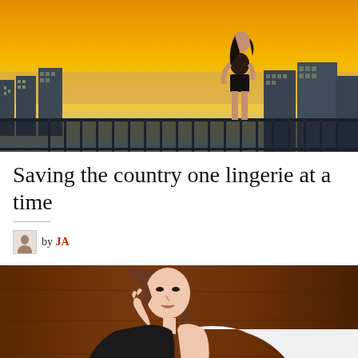[Figure (photo): Woman standing on a rooftop balcony against a dramatic orange sunset sky, with a city skyline in the background. She is wearing dark shorts and has her back to the camera.]
Saving the country one lingerie at a time
by JA
[Figure (photo): Young woman posing indoors wearing a black and white outfit, with brown wooden walls in the background. She has long brown hair and is looking toward the camera.]